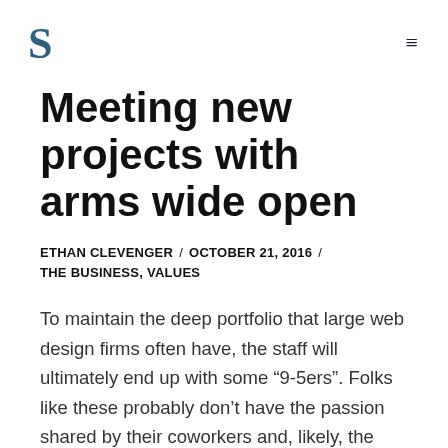S
Meeting new projects with arms wide open
ETHAN CLEVENGER / OCTOBER 21, 2016 / THE BUSINESS, VALUES
To maintain the deep portfolio that large web design firms often have, the staff will ultimately end up with some “9-5ers”. Folks like these probably don’t have the passion shared by their coworkers and, likely, the company owner.